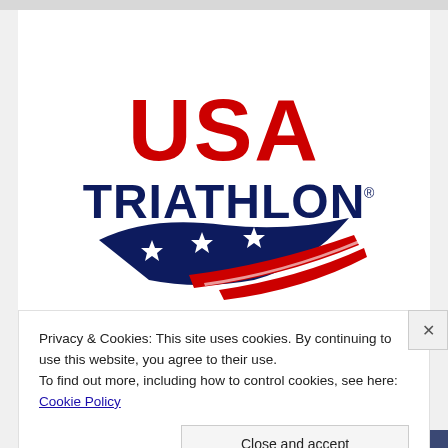[Figure (logo): USA Triathlon logo — bold red 'USA' text above bold navy 'TRIATHLON' text, with a swooping navy and red American flag-inspired graphic with three white stars below the text.]
Privacy & Cookies: This site uses cookies. By continuing to use this website, you agree to their use.
To find out more, including how to control cookies, see here: Cookie Policy
Close and accept